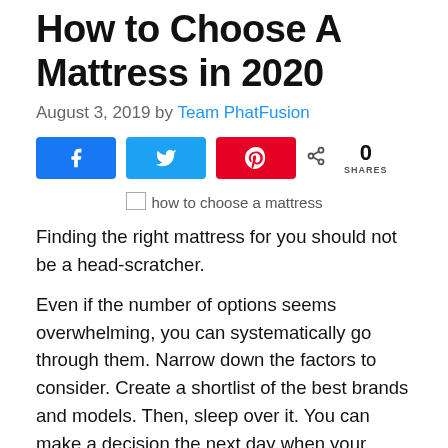How to Choose A Mattress in 2020
August 3, 2019 by Team PhatFusion
[Figure (infographic): Social share buttons: Facebook (blue), Twitter (light blue), Pinterest (red), and a share count showing 0 SHARES]
[Figure (other): Broken image placeholder with alt text 'how to choose a mattress']
Finding the right mattress for you should not be a head-scratcher.
Even if the number of options seems overwhelming, you can systematically go through them. Narrow down the factors to consider. Create a shortlist of the best brands and models. Then, sleep over it. You can make a decision the next day when your